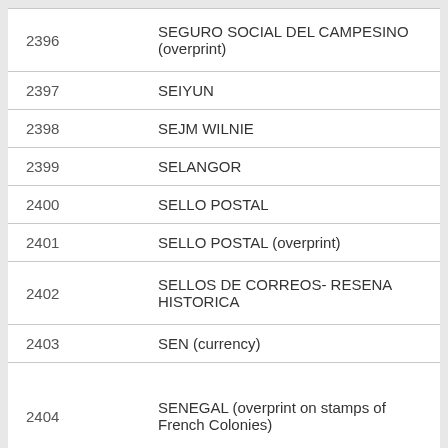| Number | Description |
| --- | --- |
| 2396 | SEGURO SOCIAL DEL CAMPESINO (overprint) |
| 2397 | SEIYUN |
| 2398 | SEJM WILNIE |
| 2399 | SELANGOR |
| 2400 | SELLO POSTAL |
| 2401 | SELLO POSTAL (overprint) |
| 2402 | SELLOS DE CORREOS- RESENA HISTORICA |
| 2403 | SEN (currency) |
| 2404 | SENEGAL (overprint on stamps of French Colonies) |